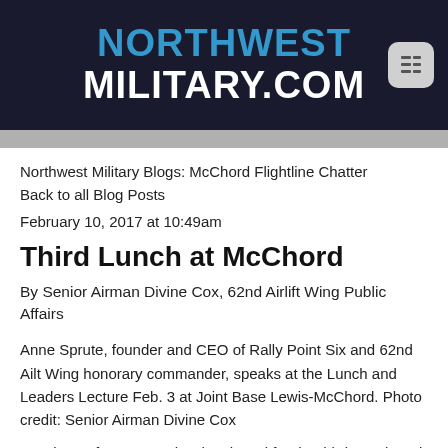NORTHWEST MILITARY.COM
Northwest Military Blogs: McChord Flightline Chatter
Back to all Blog Posts
February 10, 2017 at 10:49am
Third Lunch at McChord
By Senior Airman Divine Cox, 62nd Airlift Wing Public Affairs
Anne Sprute, founder and CEO of Rally Point Six and 62nd Airlift Wing honorary commander, speaks at the Lunch and Leaders Lecture Feb. 3 at Joint Base Lewis-McChord. Photo credit: Senior Airman Divine Cox
Members of Team McChord gathered for the third Lunch and